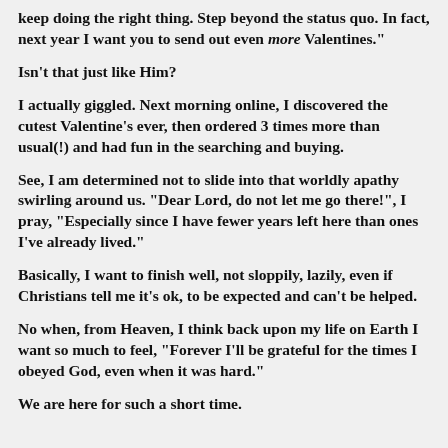keep doing the right thing. Step beyond the status quo. In fact, next year I want you to send out even more Valentines."
Isn't that just like Him?
I actually giggled. Next morning online, I discovered the cutest Valentine's ever, then ordered 3 times more than usual(!) and had fun in the searching and buying.
See, I am determined not to slide into that worldly apathy swirling around us. "Dear Lord, do not let me go there!", I pray, "Especially since I have fewer years left here than ones I've already lived."
Basically, I want to finish well, not sloppily, lazily, even if Christians tell me it's ok, to be expected and can't be helped.
No when, from Heaven, I think back upon my life on Earth I want so much to feel, "Forever I'll be grateful for the times I obeyed God, even when it was hard."
We are here for such a short time.